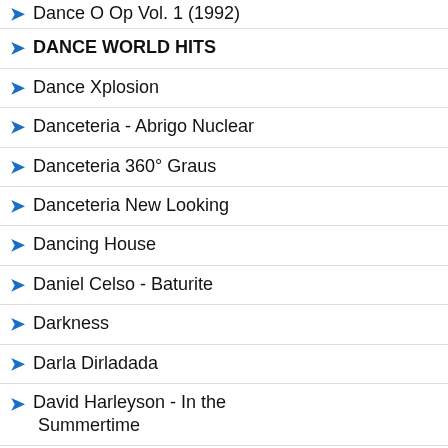Dance O Op Vol. 1 (1992)
DANCE WORLD HITS
Dance Xplosion
Danceteria - Abrigo Nuclear
Danceteria 360° Graus
Danceteria New Looking
Dancing House
Daniel Celso - Baturite
Darkness
Darla Dirladada
David Harleyson - In the Summertime
David Michael Johnson - I Say A Little Prayer
David Morales
De La Soul - Say No Go
De Volta Para O Futuro (1985)
De-Javu - I Can't Stop (2001)
13 - A
SENHA PARA ACESS
DEIXE SEU COMENTÁRIO: SEM COMENTÁRIOS »
[Figure (other): Social sharing buttons: Facebook, Twitter, Pinterest, LinkedIn, WhatsApp, Email]
The Smith
[Figure (photo): Black and white photo of a person]